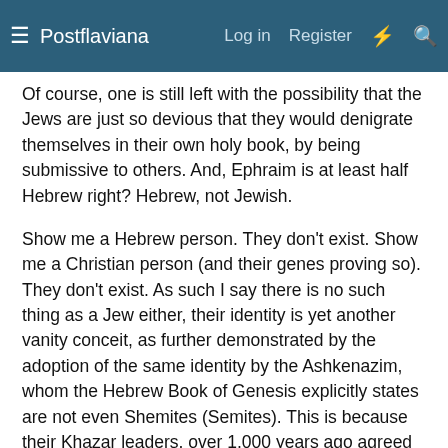Postflaviana | Log in  Register
Of course, one is still left with the possibility that the Jews are just so devious that they would denigrate themselves in their own holy book, by being submissive to others. And, Ephraim is at least half Hebrew right? Hebrew, not Jewish.
Show me a Hebrew person. They don't exist. Show me a Christian person (and their genes proving so). They don't exist. As such I say there is no such thing as a Jew either, their identity is yet another vanity conceit, as further demonstrated by the adoption of the same identity by the Ashkenazim, whom the Hebrew Book of Genesis explicitly states are not even Shemites (Semites). This is because their Khazar leaders, over 1,000 years ago agreed to this Faustian bargain.
If the Jews are such schmart 9/11 perpstigators, then I think they would have used some front groups to protect themselves. But no, they left all kinds of crumbs, such as Dancing Israelis and Art Students for the really 'alert' to find. But, once again, maybe they are so freaking devious, that they left all these self-